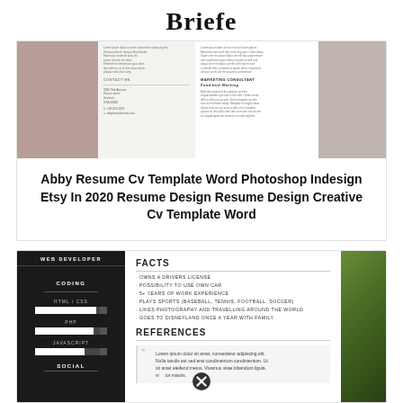Briefe
[Figure (screenshot): Preview of a resume/CV template with muted pink/beige tones, showing contact and marketing consultant sections]
Abby Resume Cv Template Word Photoshop Indesign Etsy In 2020 Resume Design Resume Design Creative Cv Template Word
[Figure (screenshot): Dark-themed web developer resume template showing CODING section with HTML/CSS, PHP, Javascript skill bars, SOCIAL section, FACTS list including drivers license, use of car, work experience, sports, photography, Disneyland. REFERENCES section with Lorem ipsum quote. Green plant visible on right side.]